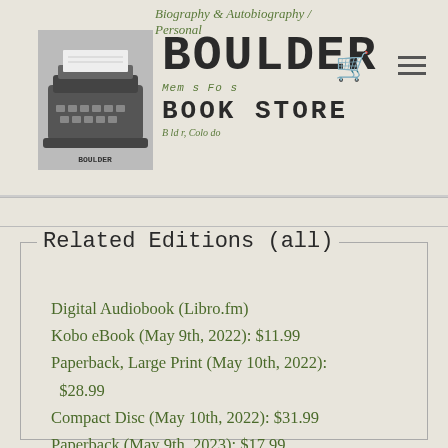Biography & Autobiography / Personal
[Figure (logo): Boulder Book Store logo with typewriter image and wordmark]
Related Editions (all)
Digital Audiobook (Libro.fm)
Kobo eBook (May 9th, 2022): $11.99
Paperback, Large Print (May 10th, 2022): $28.99
Compact Disc (May 10th, 2022): $31.99
Paperback (May 9th, 2023): $17.99
MP3 CD (May 10th, 2022): $41.99